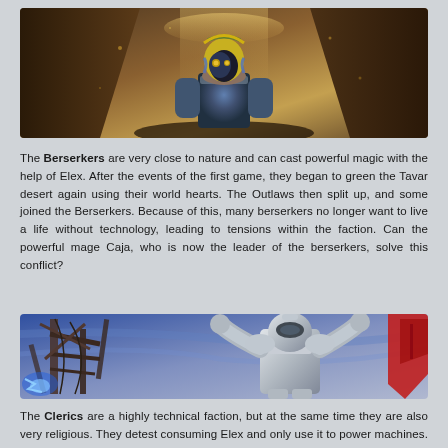[Figure (screenshot): A hooded character in a yellow-trimmed hood and blue/gray armor standing in a forest/canyon environment with warm light in background. Game screenshot from ELEX.]
The Berserkers are very close to nature and can cast powerful magic with the help of Elex. After the events of the first game, they began to green the Tavar desert again using their world hearts. The Outlaws then split up, and some joined the Berserkers. Because of this, many berserkers no longer want to live a life without technology, leading to tensions within the faction. Can the powerful mage Caja, who is now the leader of the berserkers, solve this conflict?
[Figure (screenshot): A post-apocalyptic game screenshot showing a ruined metal structure on the left and an armored character in white/silver futuristic armor on the right with arms raised. Red shapes at far right.]
The Clerics are a highly technical faction, but at the same time they are also very religious. They detest consuming Elex and only use it to power machines. In